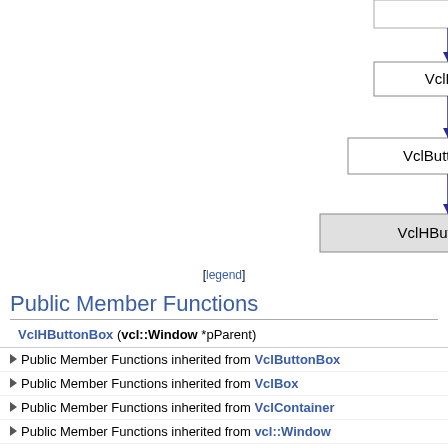[Figure (organizational-chart): UML inheritance diagram showing VclHButtonBox inheriting from VclButtonBox, which inherits from VclBox, which inherits from a partially visible class above. Each class is shown in a rectangle connected by arrows with filled arrowheads pointing upward to the parent class.]
[legend]
Public Member Functions
|  |
| --- |
| VclHButtonBox (vcl::Window *pParent) |
| ▶ Public Member Functions inherited from VclButtonBox |
| ▶ Public Member Functions inherited from VclBox |
| ▶ Public Member Functions inherited from VclContainer |
| ▶ Public Member Functions inherited from vcl::Window |